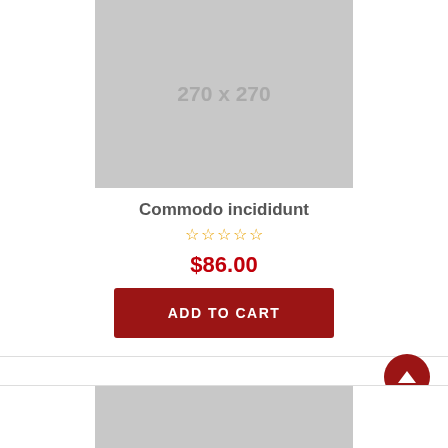[Figure (other): Product placeholder image showing '270 x 270' text on grey background]
Commodo incididunt
☆☆☆☆☆ (star rating, 5 empty stars)
$86.00
ADD TO CART
[Figure (other): Second product placeholder image, grey background, partially visible at bottom]